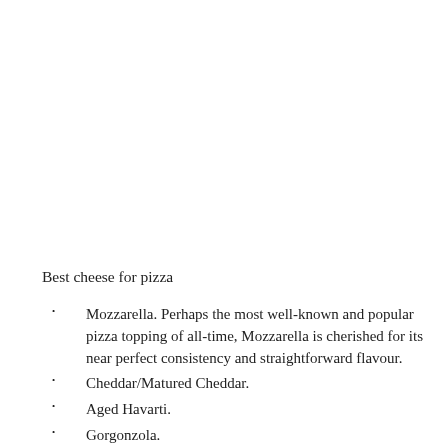Best cheese for pizza
Mozzarella. Perhaps the most well-known and popular pizza topping of all-time, Mozzarella is cherished for its near perfect consistency and straightforward flavour.
Cheddar/Matured Cheddar.
Aged Havarti.
Gorgonzola.
Provolone.
Gouda.